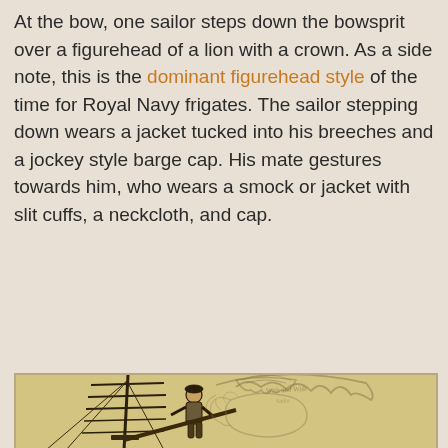At the bow, one sailor steps down the bowsprit over a figurehead of a lion with a crown. As a side note, this is the dominant figurehead style of the time for Royal Navy frigates. The sailor stepping down wears a jacket tucked into his breeches and a jockey style barge cap. His mate gestures towards him, who wears a smock or jacket with slit cuffs, a neckcloth, and cap.
[Figure (illustration): A detailed ink drawing on aged parchment-colored paper showing a sailor on the bowsprit of a sailing ship. The ship's rigging and mast are visible on the left. A figure stands on the bowsprit wearing a jacket tucked into breeches and a barge cap. In the background are faint sketched outlines of a lion figurehead with a crown, rendered in light pencil lines on yellowed paper.]